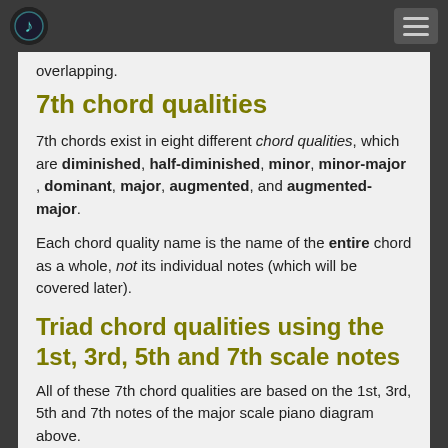[Logo and navigation menu]
overlapping.
7th chord qualities
7th chords exist in eight different chord qualities, which are diminished, half-diminished, minor, minor-major , dominant, major, augmented, and augmented-major.
Each chord quality name is the name of the entire chord as a whole, not its individual notes (which will be covered later).
Triad chord qualities using the 1st, 3rd, 5th and 7th scale notes
All of these 7th chord qualities are based on the 1st, 3rd, 5th and 7th notes of the major scale piano diagram above.